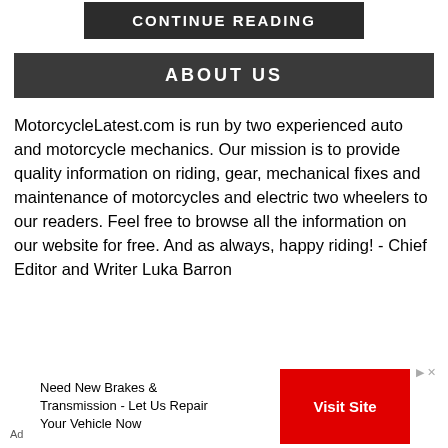[Figure (screenshot): A dark button labeled CONTINUE READING at the top of the page]
ABOUT US
MotorcycleLatest.com is run by two experienced auto and motorcycle mechanics. Our mission is to provide quality information on riding, gear, mechanical fixes and maintenance of motorcycles and electric two wheelers to our readers. Feel free to browse all the information on our website for free. And as always, happy riding! - Chief Editor and Writer Luka Barron
[Figure (screenshot): Advertisement bar at bottom: Need New Brakes & Transmission - Let Us Repair Your Vehicle Now, with a red Visit Site button]